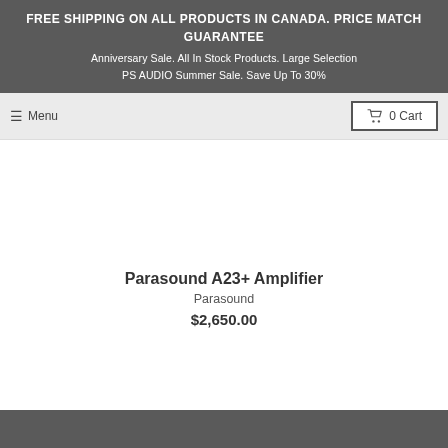FREE SHIPPING ON ALL PRODUCTS IN CANADA. PRICE MATCH GUARANTEE
Anniversary Sale. All In Stock Products. Large Selection
PS AUDIO Summer Sale. Save Up To 30%
☰ Menu
🛒 0 Cart
Parasound A23+ Amplifier
Parasound
$2,650.00